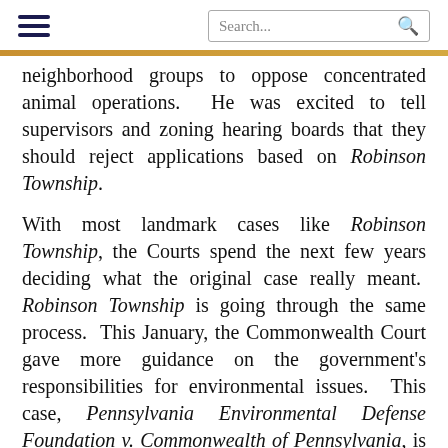[hamburger menu] [Search...]
neighborhood groups to oppose concentrated animal operations.  He was excited to tell supervisors and zoning hearing boards that they should reject applications based on Robinson Township.
With most landmark cases like Robinson Township, the Courts spend the next few years deciding what the original case really meant.  Robinson Township is going through the same process.  This January, the Commonwealth Court gave more guidance on the government's responsibilities for environmental issues.  This case, Pennsylvania Environmental Defense Foundation v. Commonwealth of Pennsylvania, is good news for agricultural projects.
In PEDF, the Commonwealth Court explained